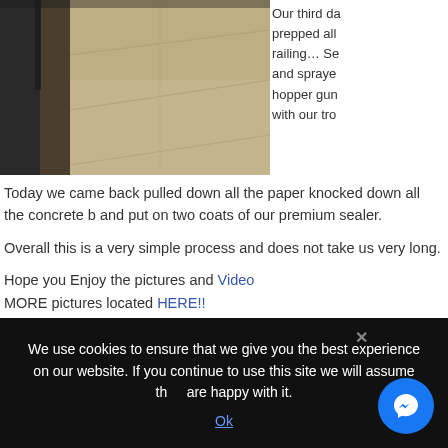[Figure (photo): Photo of a concrete/stone floor surface with a railing or wall visible on the left side.]
Our third da prepped all railing… Se and spraye hopper gun with our tro
Today we came back pulled down all the paper knocked down all the concrete b and put on two coats of our premium sealer.
Overall this is a very simple process and does not take us very long.
Hope you Enjoy the pictures and Video
MORE pictures located HERE!!
Call me for a FREE Estimate.
OR – You can Fill out this Convenient Contact form located HERE and I will Con
Thank you for Visiting my Website, come back again soon….
We use cookies to ensure that we give you the best experience on our website. If you continue to use this site we will assume that you are happy with it.
Ok